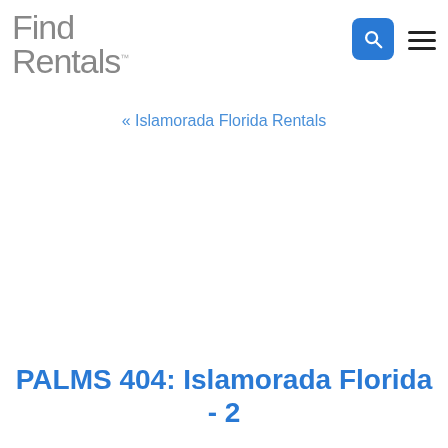[Figure (logo): Find Rentals logo — stylized grey text reading 'Find Rentals' with a trademark symbol]
[Figure (other): Blue rounded-square search icon button with white magnifying glass]
[Figure (other): Hamburger menu icon — three horizontal black lines]
« Islamorada Florida Rentals
PALMS 404: Islamorada Florida - 2